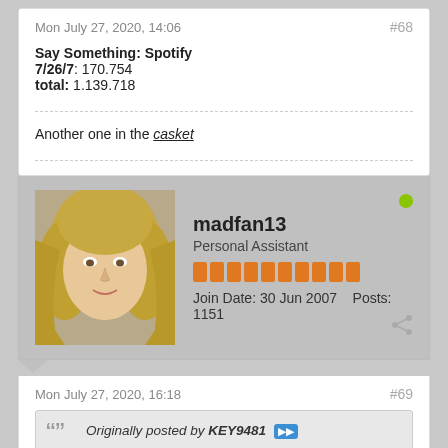Mon July 27, 2020, 14:06
#68
Say Something: Spotify
7/26/7: 170.754
total: 1.139.718
Another one in the casket
[Figure (photo): Avatar photo of user madfan13 - blonde woman]
madfan13
Personal Assistant
Join Date: 30 Jun 2007    Posts: 1151
Mon July 27, 2020, 16:18
#69
Originally posted by KEY9481
Midweek stats posted on SayHey
52 (NEW) Say Something
Sales: 3218
Yesterday: 1746
Digital: 1174